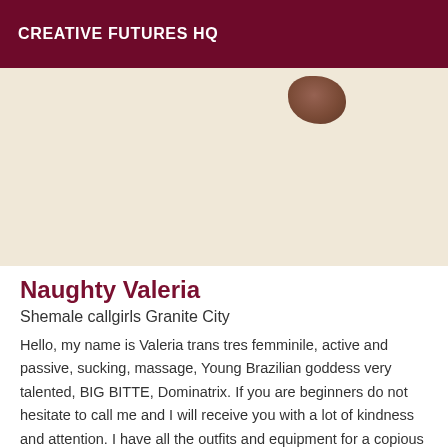CREATIVE FUTURES HQ
[Figure (photo): Partial photo with beige/cream background and a small brown object visible in upper right area]
Naughty Valeria
Shemale callgirls Granite City
Hello, my name is Valeria trans tres femminile, active and passive, sucking, massage, Young Brazilian goddess very talented, BIG BITTE, Dominatrix. If you are beginners do not hesitate to call me and I will receive you with a lot of kindness and attention. I have all the outfits and equipment for a copious and guaranteed pleasure. I'm at trans ideal for his first time, come discover a new experience and spend a pleasant moment of complete massage in my company. Sublime